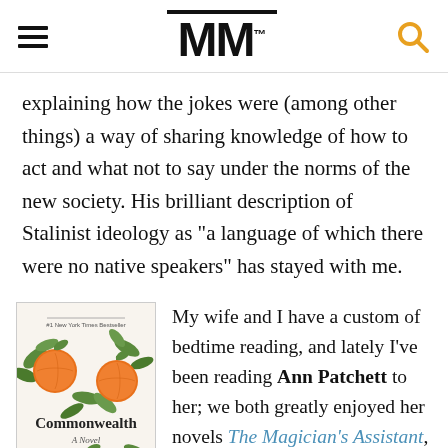MM
explaining how the jokes were (among other things) a way of sharing knowledge of how to act and what not to say under the norms of the new society. His brilliant description of Stalinist ideology as “a language of which there were no native speakers” has stayed with me.
[Figure (illustration): Book cover of Commonwealth by Ann Patchett, showing oranges and green leaves on a white background, with '#1 New York Times Bestseller' at top.]
My wife and I have a custom of bedtime reading, and lately I’ve been reading Ann Patchett to her; we both greatly enjoyed her novels The Magician’s Assistant, Commonwealth, and The Dutch House, and I...